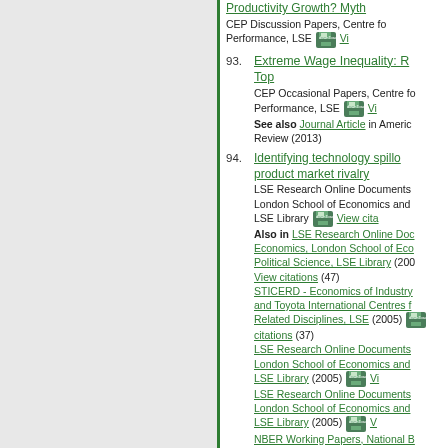Productivity Growth? Myth... CEP Discussion Papers, Centre for Performance, LSE [downloads] Vi...
93. Extreme Wage Inequality: ... Top. CEP Occasional Papers, Centre for Performance, LSE [downloads] Vi... See also Journal Article in Americ... Review (2013)
94. Identifying technology spillo... product market rivalry. LSE Research Online Documents, London School of Economics and LSE Library [downloads] View cita... Also in LSE Research Online Doc... Economics, London School of Eco... Political Science, LSE Library (200... View citations (47) STICERD - Economics of Industry... and Toyota International Centres f... Related Disciplines, LSE (2005) [downloads] citations (37) LSE Research Online Documents... London School of Economics and LSE Library (2005) [downloads] Vi... LSE Research Online Documents... London School of Economics and LSE Library (2005) [downloads] V... NBER Working Papers, National B... Economic Research, Inc (2007)...